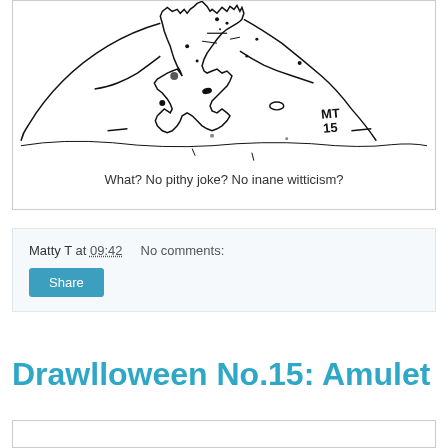[Figure (illustration): Hand-drawn black and white sketch of a landscape scene with a rocky or mountainous figure, signed MT 15 in the lower right area. Sparse, minimalist ink drawing.]
What? No pithy joke? No inane witticism?
Matty T at 09:42    No comments:
Share
Drawlloween No.15: Amulet